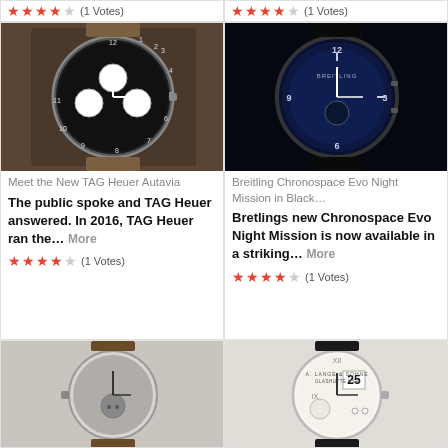[Figure (other): Rating row at top: two cards partially visible showing star ratings (4 out of 5 stars, 1 Votes each)]
[Figure (photo): TAG Heuer Autavia watch with black bezel and white subdials on brown leather strap]
[Figure (photo): Breitling Chronospace Evo Night Mission watch with dark blue dial on black rubber strap]
Meet the New TAG Heuer Autavia
The public spoke and TAG Heuer answered. In 2016, TAG Heuer ran the… More
Breitling Chronospace Evo Night Mission in Black…
Bretlings new Chronospace Evo Night Mission is now available in a striking… More
★★★★☆ (1 Votes)
★★★★☆ (1 Votes)
[Figure (photo): Dark gray watch with moonphase complication on brown leather strap]
[Figure (photo): A. Lange & Söhne Glashutte watch with white dial and large date display showing 25]